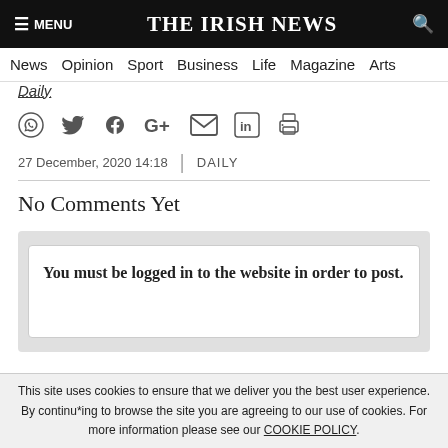≡ MENU   THE IRISH NEWS   🔍
News  Opinion  Sport  Business  Life  Magazine  Arts
Daily
[Figure (infographic): Social sharing icons row: WhatsApp, Twitter, Facebook, Google+, Email, LinkedIn, Print]
27 December, 2020 14:18  |  DAILY
No Comments Yet
You must be logged in to the website in order to post.
This site uses cookies to ensure that we deliver you the best user experience. By continuing to browse the site you are agreeing to our use of cookies. For more information please see our COOKIE POLICY.